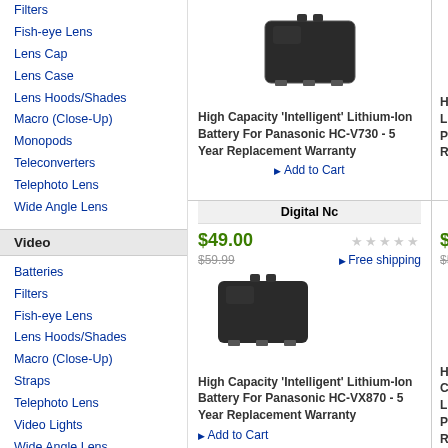Filters
Fish-eye Lens
Lens Cap
Lens Case
Lens Hoods/Shades
Macro (Close-Up)
Monopods
Teleconverters
Telephoto Lens
Wide Angle Lens
Video
Batteries
Filters
Fish-eye Lens
Lens Hoods/Shades
Macro (Close-Up)
Straps
Telephoto Lens
Video Lights
Wide Angle Lens
[Figure (photo): Black lithium-ion battery for Panasonic HC-V730]
High Capacity 'Intelligent' Lithium-Ion Battery For Panasonic HC-V730 - 5 Year Replacement Warranty
Add to Cart
High Capacity 'Intelligent' Lithium-Ion Battery For Panasonic HC-V730 - 5 Year Replacement Warranty (partial)
Digital Nc
$49.00
$59.99
Free shipping
[Figure (photo): Black lithium-ion battery for Panasonic HC-VX870]
High Capacity 'Intelligent' Lithium-Ion Battery For Panasonic HC-VX870 - 5 Year Replacement Warranty
Add to Cart